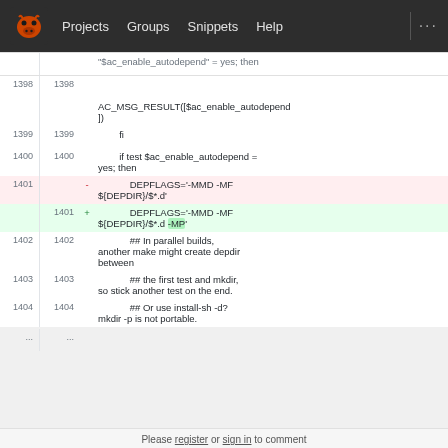Projects  Groups  Snippets  Help  ...
[Figure (screenshot): GitLab code diff view showing lines 1398-1404 of a configure script. Line 1401 is removed (red): DEPFLAGS='-MMD -MF ${DEPDIR}/$*.d' and added (green): DEPFLAGS='-MMD -MF ${DEPDIR}/$*.d -MP'. Context lines show AC_MSG_RESULT, fi, if test $ac_enable_autodepend = yes; then, and comments about parallel builds.]
Please register or sign in to comment